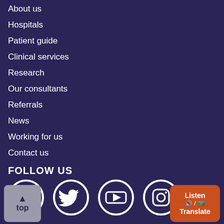About us
Hospitals
Patient guide
Clinical services
Research
Our consultants
Referrals
News
Working for us
Contact us
FOLLOW US
[Figure (illustration): Social media icons: Facebook, Twitter, YouTube, Instagram in white circles on dark background]
[Figure (illustration): Back to top button (grey) and Listen/Translate button (orange)]